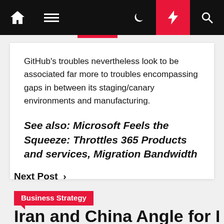Navigation bar with home, menu, dark mode, lightning/flash, and search icons
GitHub's troubles nevertheless look to be associated far more to troubles encompassing gaps in between its staging/canary environments and manufacturing.
See also: Microsoft Feels the Squeeze: Throttles 365 Products and services, Migration Bandwidth
Next Post
Business Strategy
Iran and China Angle for Bread